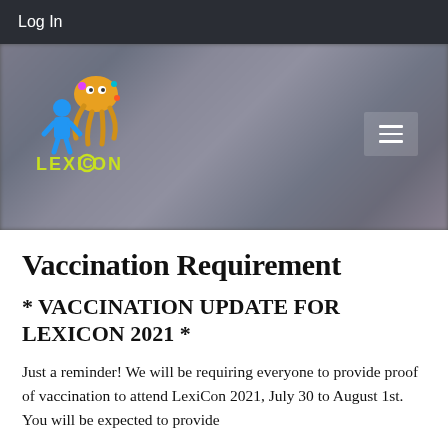Log In
[Figure (screenshot): LexiCon convention website hero banner with blurred crowd background, LexiCon logo on left (colorful octopus creature with blue figure), and hamburger menu icon on right]
Vaccination Requirement
* VACCINATION UPDATE FOR LEXICON 2021 *
Just a reminder! We will be requiring everyone to provide proof of vaccination to attend LexiCon 2021, July 30 to August 1st. You will be expected to provide